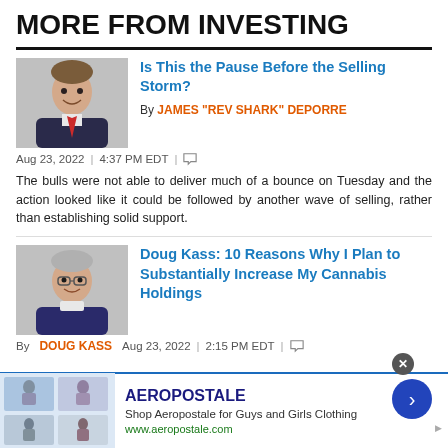MORE FROM INVESTING
[Figure (photo): Headshot of James 'Rev Shark' DePorre, a man in a suit smiling]
Is This the Pause Before the Selling Storm?
By JAMES "REV SHARK" DEPORRE
Aug 23, 2022  |  4:37 PM EDT  |
The bulls were not able to deliver much of a bounce on Tuesday and the action looked like it could be followed by another wave of selling, rather than establishing solid support.
[Figure (photo): Headshot of Doug Kass, an older man wearing glasses and a sweater]
Doug Kass: 10 Reasons Why I Plan to Substantially Increase My Cannabis Holdings
By DOUG KASS  Aug 23, 2022  |  2:15 PM EDT  |
[Figure (other): Advertisement banner for Aeropostale with clothing images]